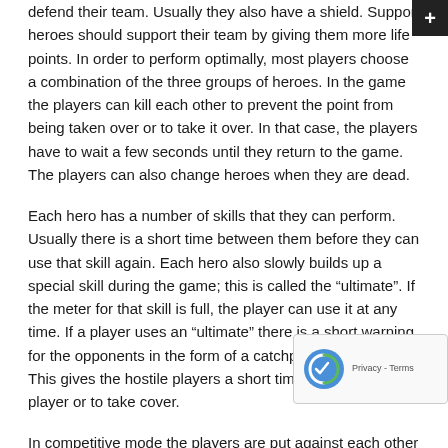defend their team. Usually they also have a shield. Support heroes should support their team by giving them more life points. In order to perform optimally, most players choose a combination of the three groups of heroes. In the game the players can kill each other to prevent the point from being taken over or to take it over. In that case, the players have to wait a few seconds until they return to the game. The players can also change heroes when they are dead.
Each hero has a number of skills that they can perform. Usually there is a short time between them before they can use that skill again. Each hero also slowly builds up a special skill during the game; this is called the “ultimate”. If the meter for that skill is full, the player can use it at any time. If a player uses an “ultimate” there is a short warning for the opponents in the form of a catchphrase of the hero. This gives the hostile players a short time to take out the player or to take cover.
In competitive mode the players are put against each other in a competition. This game mode is often taken more seriously by the players, because there is a “skill rating” attached to it. This rating determines how well a player has performed. If a player loses in the game mode, the skill rating will be lower and vice versa. After the ten games in competitive, players can see which of the following levels they have reached: Bronze, Silver, Gold, Platinum, Diamond, Master or Grandmaster.